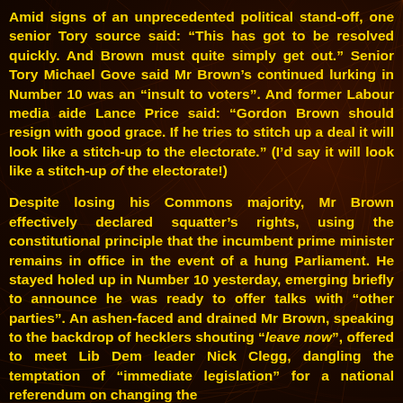Amid signs of an unprecedented political stand-off, one senior Tory source said: “This has got to be resolved quickly. And Brown must quite simply get out.” Senior Tory Michael Gove said Mr Brown’s continued lurking in Number 10 was an “insult to voters”. And former Labour media aide Lance Price said: “Gordon Brown should resign with good grace. If he tries to stitch up a deal it will look like a stitch-up to the electorate.” (I’d say it will look like a stitch-up of the electorate!)
Despite losing his Commons majority, Mr Brown effectively declared squatter’s rights, using the constitutional principle that the incumbent prime minister remains in office in the event of a hung Parliament. He stayed holed up in Number 10 yesterday, emerging briefly to announce he was ready to offer talks with “other parties”. An ashen-faced and drained Mr Brown, speaking to the backdrop of hecklers shouting “leave now”, offered to meet Lib Dem leader Nick Clegg, dangling the temptation of “immediate legislation” for a national referendum on changing the